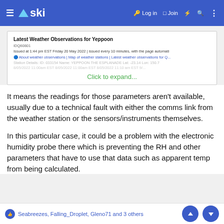≡ ▲ski   🔑 Log in  □ Join  ⚡  🔍  ⋮
[Figure (screenshot): Collapsed weather observation box showing 'Latest Weather Observations for Yeppoon' with partial text and a 'Click to expand...' link in green]
It means the readings for those parameters aren't available, usually due to a technical fault with either the comms link from the weather station or the sensors/instruments themselves.
In this particular case, it could be a problem with the electronic humidity probe there which is preventing the RH and other parameters that have to use that data such as apparent temp from being calculated.
Seabreezes, Falling_Droplet, Gleno71 and 3 others